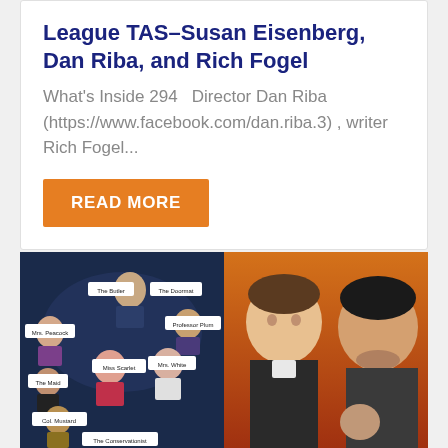League TAS–Susan Eisenberg, Dan Riba, and Rich Fogel
What's Inside 294   Director Dan Riba (https://www.facebook.com/dan.riba.3) , writer Rich Fogel...
READ MORE
[Figure (photo): Two side-by-side images: left is an illustrated Clue/Cluedo-style artwork with characters labeled The Butler, The Doormat, Mrs. Peacock, Professor Plum, Miss Scarlet, Mrs. White, The Maid, Col. Mustard, The Conservationist; right is a movie poster showing two men (one Caucasian, one Asian) against an orange background.]